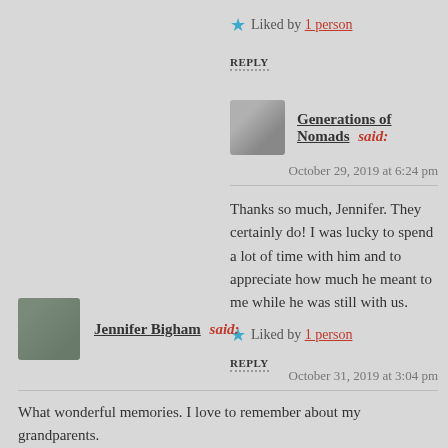★ Liked by 1 person
REPLY
Generations of Nomads said:
October 29, 2019 at 6:24 pm
Thanks so much, Jennifer. They certainly do! I was lucky to spend a lot of time with him and to appreciate how much he meant to me while he was still with us.
★ Liked by 1 person
REPLY
Jennifer Bigham said:
October 31, 2019 at 3:04 pm
What wonderful memories. I love to remember about my grandparents.